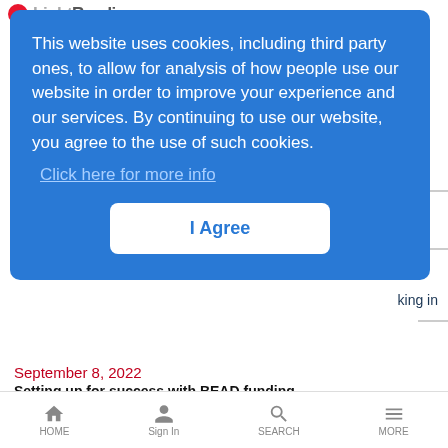LightReading
This website uses cookies, including third party ones, to allow for analysis of how people use our website in order to improve your experience and our services. By continuing to use our website, you agree to the use of such cookies. Click here for more info
I Agree
king in
September 8, 2022
Setting up for success with BEAD funding
September 9, 2022
Light Up Your Smart Life: Practices and Prospects for Android TV
September 13, 2022
HOME  Sign In  SEARCH  MORE